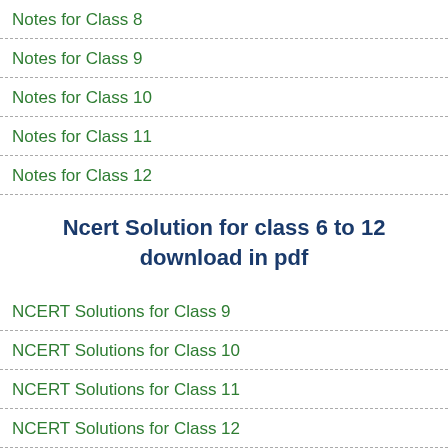Notes for Class 8
Notes for Class 9
Notes for Class 10
Notes for Class 11
Notes for Class 12
Ncert Solution for class 6 to 12 download in pdf
NCERT Solutions for Class 9
NCERT Solutions for Class 10
NCERT Solutions for Class 11
NCERT Solutions for Class 12